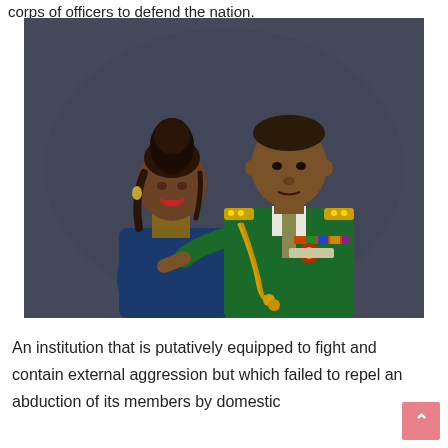corps of officers to defend the nation.
[Figure (photo): A woman in a blue dress with braided hair in an updo stands next to a man in a green Nigerian military dress uniform with gold epaulettes, gold aiguillette, medals and ribbons on his chest. They pose together for a formal portrait against a dark grey background.]
An institution that is putatively equipped to fight and contain external aggression but which failed to repel an abduction of its members by domestic